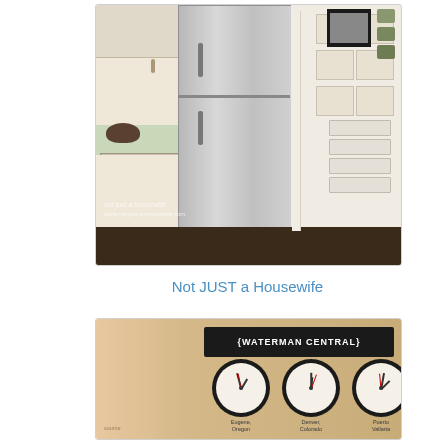[Figure (photo): Kitchen interior showing a stainless steel refrigerator next to a white stove and cabinets, with a white wall to the right featuring framed artwork and wall organizers. Watermark reads 'not just a housewife' and website URL.]
Not JUST a Housewife
[Figure (photo): Wall display with a dark sign reading '{WATERMAN CENTRAL}' above three black-rimmed analog clocks labeled 'Eugene, Oregon', 'Denver, Colorado', and 'Puerto Vallarta'. Orange/tan wall background.]